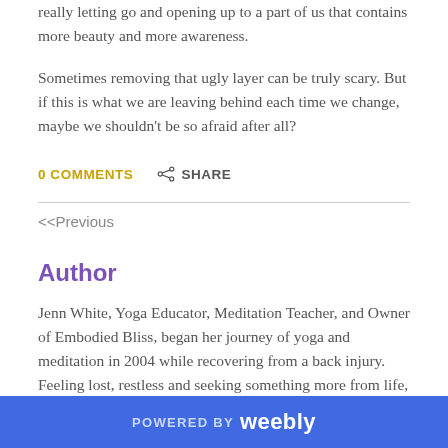really letting go and opening up to a part of us that contains more beauty and more awareness.
Sometimes removing that ugly layer can be truly scary. But if this is what we are leaving behind each time we change, maybe we shouldn't be so afraid after all?
0 COMMENTS   SHARE
<<Previous
Author
Jenn White, Yoga Educator, Meditation Teacher, and Owner of Embodied Bliss, began her journey of yoga and meditation in 2004 while recovering from a back injury.  Feeling lost, restless and seeking something more from life, she found beneath...
POWERED BY weebly